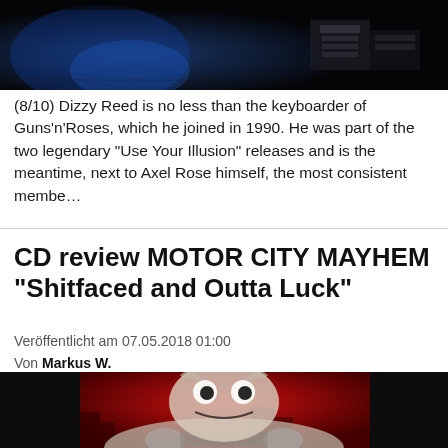[Figure (photo): Dark concert/stage photo with blue lighting and equipment visible, top portion of page]
(8/10) Dizzy Reed is no less than the keyboarder of Guns'n'Roses, which he joined in 1990. He was part of the two legendary “Use Your Illusion” releases and is the meantime, next to Axel Rose himself, the most consistent membe…
CD review MOTOR CITY MAYHEM "Shitfaced and Outta Luck"
Veröffentlicht am 07.05.2018 01:00
Von Markus W.
[Figure (illustration): Cartoon monster creature driving a vintage car with teeth, on red and dark background - album artwork for Motor City Mayhem]